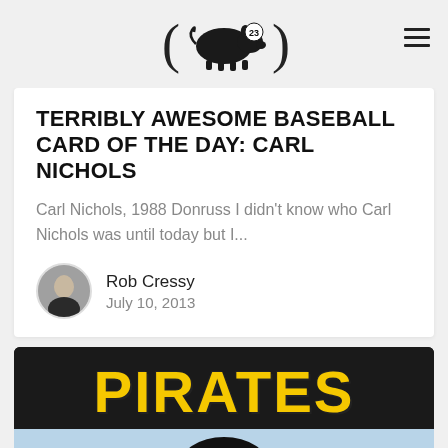[Logo: pig with number 23, parentheses on each side]
TERRIBLY AWESOME BASEBALL CARD OF THE DAY: CARL NICHOLS
Carl Nichols, 1988 Donruss I didn't know who Carl Nichols was until today but I...
Rob Cressy
July 10, 2013
[Figure (photo): Pittsburgh Pirates baseball card showing the word PIRATES in large yellow letters on a dark background, with a player visible below and a Topps logo in the bottom right corner]